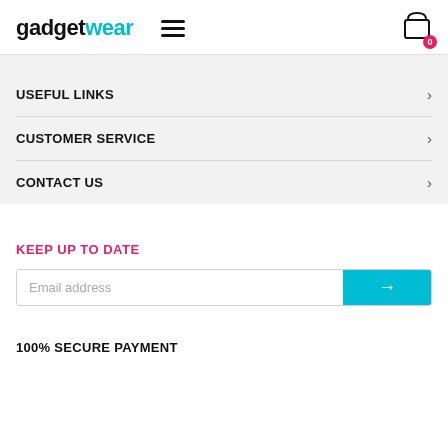gadgetwear
USEFUL LINKS
CUSTOMER SERVICE
CONTACT US
KEEP UP TO DATE
Email address
100% SECURE PAYMENT